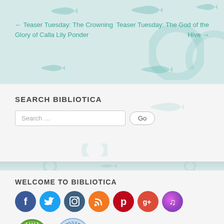← Teaser Tuesday: The Crowning Glory of Calla Lily Ponder
Teaser Tuesday: The God of the Hive →
SEARCH BIBLIOTICA
Search ... Go
WELCOME TO BIBLIOTICA
[Figure (other): Social media icons: Facebook, Twitter, Instagram, RSS, Pinterest, Google+, and a music/podcast icon]
[Figure (other): NetGalley Member badge (green circle) and a second circular badge (blue)]